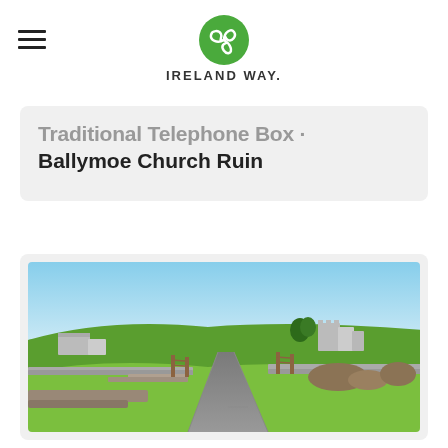Ireland Way
Traditional Telephone Box · Ballymoe Church Ruin
[Figure (photo): A narrow country road leads uphill through green fields in rural Ireland. Stone walls line the road on the left, a wooden gate is visible in the middle distance, and ancient stone ruins of a church sit on the hilltop under a clear blue sky.]